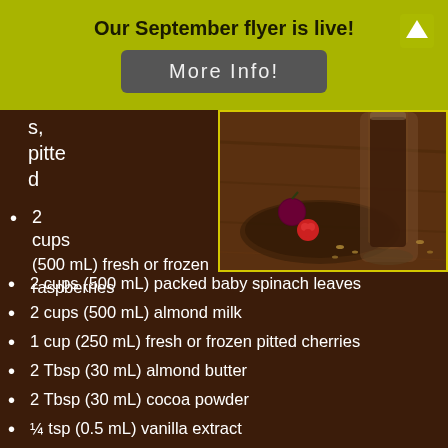Our September flyer is live!
More Info!
[Figure (photo): A chocolate smoothie in a glass with cherries and raspberries on a wooden board, top-down view]
s, pitted
2 cups (500 mL) fresh or frozen raspberries
2 cups (500 mL) packed baby spinach leaves
2 cups (500 mL) almond milk
1 cup (250 mL) fresh or frozen pitted cherries
2 Tbsp (30 mL) almond butter
2 Tbsp (30 mL) cocoa powder
¼ tsp (0.5 mL) vanilla extract
1 scoop Botanica Chocolate Perfect Protein